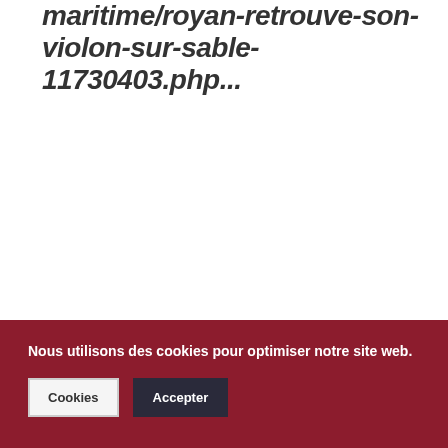maritime/royan-retrouve-son-violon-sur-sable-11730403.php...
Nous utilisons des cookies pour optimiser notre site web.
Cookies
Accepter